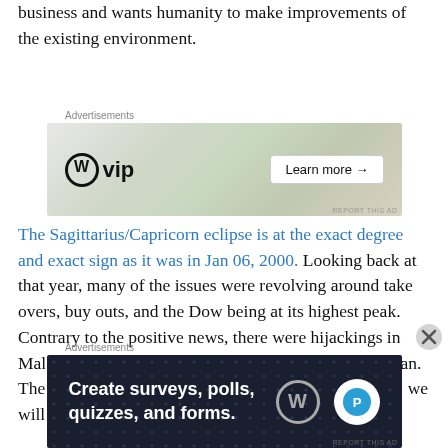business and wants humanity to make improvements of the existing environment.
[Figure (screenshot): WordPress VIP advertisement banner with logos and 'Learn more' button]
The Sagittarius/Capricorn eclipse is at the exact degree and exact sign as it was in Jan 06, 2000. Looking back at that year, many of the issues were revolving around take overs, buy outs, and the Dow being at its highest peak. Contrary to the positive news, there were hijackings in Malaysia (Asia) and an airline crash in the Pacific Ocean. The questions and answers to the parallel are the same; we will hear a lot of news regarding Asian, Pacific, and
[Figure (screenshot): Advertisement: Create surveys, polls, quizzes, and forms. WordPress.]